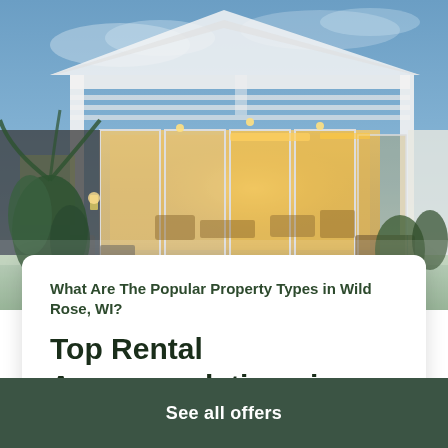[Figure (photo): Exterior nighttime photo of a modern white house with open glass walls revealing a warmly lit interior living area, pergola overhead, patio furniture, and tropical plants in the foreground under a blue dusk sky.]
What Are The Popular Property Types in Wild Rose, WI?
Top Rental Accommodations in Wild Rose, WI
There are various types of homes in Wild Rose area. Depending on your ideal size, location and the one using filters accurately. House is the
See all offers